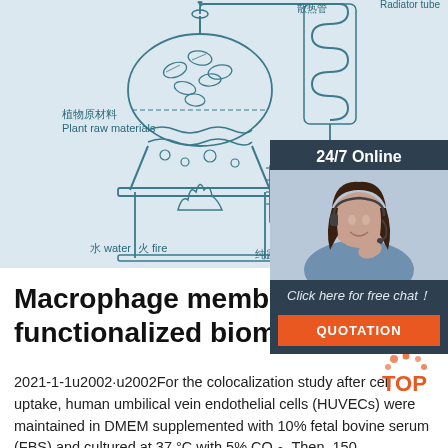[Figure (illustration): Scientific diagram of plant essential oil steam distillation setup with Chinese and English labels: 植物原材料/Plant raw materials, 水 water, 火 fire, 散热管/Radiator tube, 精油/essential oil, 纯露 Hydrosol]
[Figure (infographic): 24/7 Online chat widget with a customer service representative photo, text 'Click here for free chat!' and an orange QUOTATION button]
Macrophage membrane functionalized biomimetic ...
2021-1-1u2002·u2002For the colocalization study after cell uptake, human umbilical vein endothelial cells (HUVECs) were maintained in DMEM supplemented with 10% fetal bovine serum (FBS) and cultured at 37 °C with 5% CO 2. Then, 150